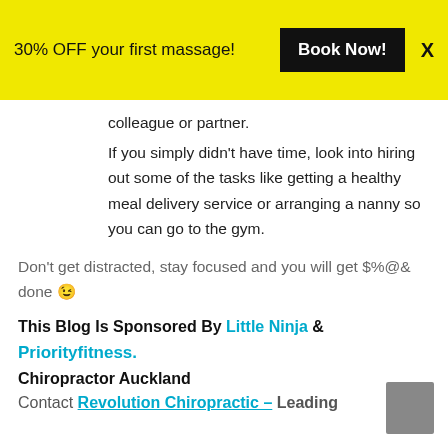30% OFF your first massage! Book Now! X
colleague or partner.
If you simply didn't have time, look into hiring out some of the tasks like getting a healthy meal delivery service or arranging a nanny so you can go to the gym.
Don't get distracted, stay focused and you will get $%@& done 😉
This Blog Is Sponsored By Little Ninja & Priorityfitness.
Chiropractor Auckland
Contact Revolution Chiropractic – Leading